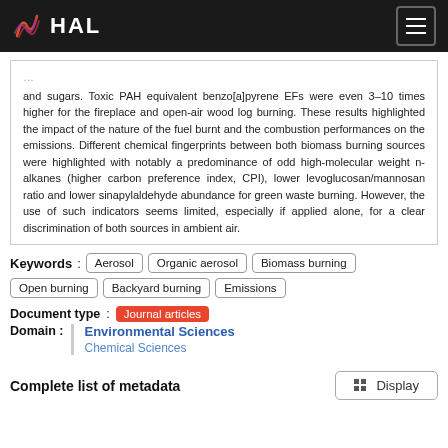HAL
and sugars. Toxic PAH equivalent benzo[a]pyrene EFs were even 3–10 times higher for the fireplace and open-air wood log burning. These results highlighted the impact of the nature of the fuel burnt and the combustion performances on the emissions. Different chemical fingerprints between both biomass burning sources were highlighted with notably a predominance of odd high-molecular weight n-alkanes (higher carbon preference index, CPI), lower levoglucosan/mannosan ratio and lower sinapylaldehyde abundance for green waste burning. However, the use of such indicators seems limited, especially if applied alone, for a clear discrimination of both sources in ambient air.
Keywords : Aerosol ; Organic aerosol ; Biomass burning ; Open burning ; Backyard burning ; Emissions
Document type : Journal articles
Domain : Environmental Sciences ; Chemical Sciences
Complete list of metadata  Display